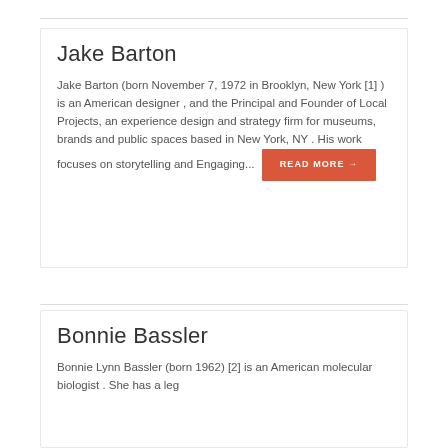Jake Barton
Jake Barton (born November 7, 1972 in Brooklyn, New York [1] ) is an American designer , and the Principal and Founder of Local Projects, an experience design and strategy firm for museums, brands and public spaces based in New York, NY . His work focuses on storytelling and Engaging… READ MORE →
Bonnie Bassler
Bonnie Lynn Bassler (born 1962) [2] is an American molecular biologist . She has a leg